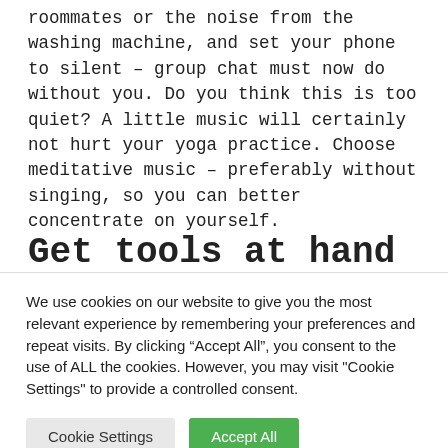roommates or the noise from the washing machine, and set your phone to silent – group chat must now do without you. Do you think this is too quiet? A little music will certainly not hurt your yoga practice. Choose meditative music – preferably without singing, so you can better concentrate on yourself.
Get tools at hand
We use cookies on our website to give you the most relevant experience by remembering your preferences and repeat visits. By clicking "Accept All", you consent to the use of ALL the cookies. However, you may visit "Cookie Settings" to provide a controlled consent.